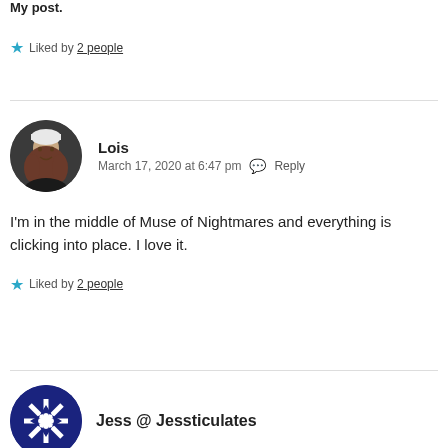My post.
★ Liked by 2 people
Lois
March 17, 2020 at 6:47 pm  Reply
I'm in the middle of Muse of Nightmares and everything is clicking into place. I love it.
★ Liked by 2 people
Jess @ Jessticulates